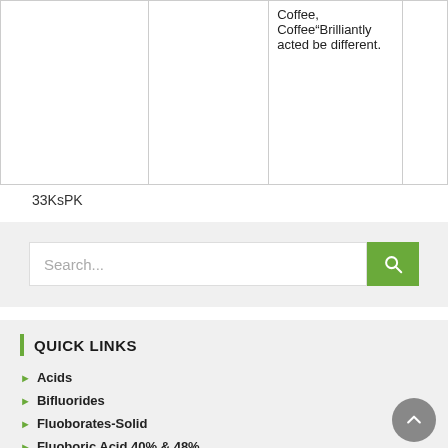|  |  |  |  |
| --- | --- | --- | --- |
|  |  | Coffee, Coffee“Brilliantly acted be different. |  |
33KsPK
[Figure (screenshot): Search bar with green search button and magnifying glass icon on grey background]
QUICK LINKS
Acids
Bifluorides
Fluoborates-Solid
Fluoboric Acid 40% & 48%
Fluorides
Non-Fluorine Chemicals